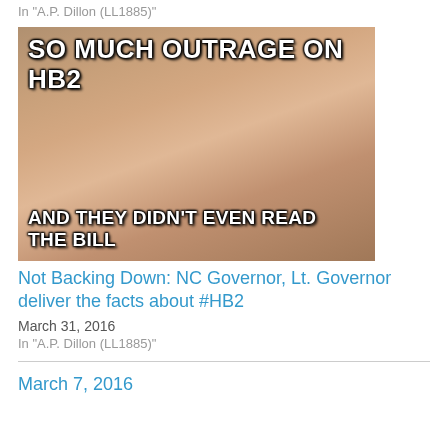In "A.P. Dillon (LL1885)"
[Figure (photo): Meme image of a crying woman with text overlay: 'SO MUCH OUTRAGE ON HB2' at the top and 'AND THEY DIDN'T EVEN READ THE BILL' at the bottom]
Not Backing Down: NC Governor, Lt. Governor deliver the facts about #HB2
March 31, 2016
In "A.P. Dillon (LL1885)"
March 7, 2016